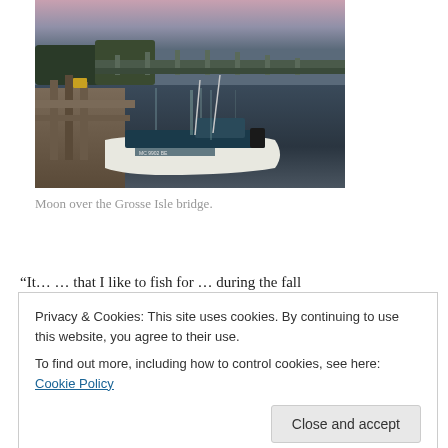[Figure (photo): A boat docked at a waterfront pier at dusk, with a bridge visible in the background and pink/purple sky. The boat is labeled MC 9902 BE.]
Moon over the Grosse Isle bridge.
"It… … that I like to fish for … during the fall…
Privacy & Cookies: This site uses cookies. By continuing to use this website, you agree to their use.
To find out more, including how to control cookies, see here: Cookie Policy
October will break the trend.